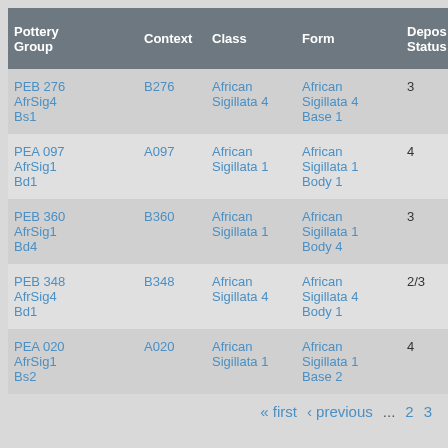| Pottery Group | Context | Class | Form | Depos Status | R Ct ▲ | R Ev |
| --- | --- | --- | --- | --- | --- | --- |
| PEB 276 AfrSig4 Bs1 | B276 | African Sigillata 4 | African Sigillata 4 Base 1 | 3 |  |  |
| PEA 097 AfrSig1 Bd1 | A097 | African Sigillata 1 | African Sigillata 1 Body 1 | 4 |  |  |
| PEB 360 AfrSig1 Bd4 | B360 | African Sigillata 1 | African Sigillata 1 Body 4 | 3 |  |  |
| PEB 348 AfrSig4 Bd1 | B348 | African Sigillata 4 | African Sigillata 4 Body 1 | 2/3 |  |  |
| PEA 020 AfrSig1 Bs2 | A020 | African Sigillata 1 | African Sigillata 1 Base 2 | 4 |  |  |
« first  ‹ previous  ...  2  3